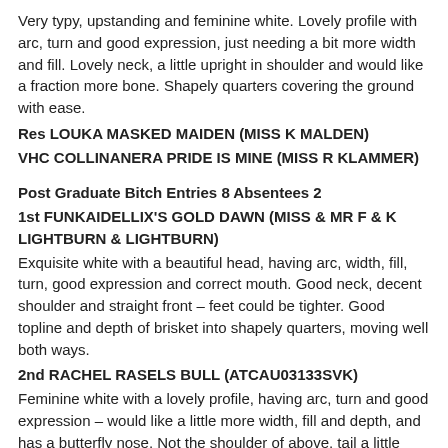Very typy, upstanding and feminine white. Lovely profile with arc, turn and good expression, just needing a bit more width and fill. Lovely neck, a little upright in shoulder and would like a fraction more bone. Shapely quarters covering the ground with ease.
Res LOUKA MASKED MAIDEN (MISS K MALDEN)
VHC COLLINANERA PRIDE IS MINE (MISS R KLAMMER)
Post Graduate Bitch Entries 8 Absentees 2
1st FUNKAIDELLIX'S GOLD DAWN (MISS & MR F & K LIGHTBURN & LIGHTBURN)
Exquisite white with a beautiful head, having arc, width, fill, turn, good expression and correct mouth. Good neck, decent shoulder and straight front – feet could be tighter. Good topline and depth of brisket into shapely quarters, moving well both ways.
2nd RACHEL RASELS BULL (ATCAU03133SVK)
Feminine white with a lovely profile, having arc, turn and good expression – would like a little more width, fill and depth, and has a butterfly nose. Not the shoulder of above, tail a little high-set but has good shapely quarters moving well behind.
3rd BOWMOUNTBULL BLACK KNIGHT AT BLUEPOINT (MISS & MR B & S HEATH & MORRIS)